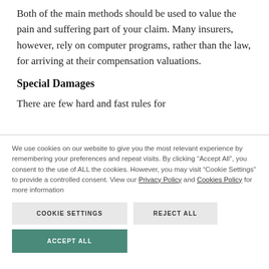Both of the main methods should be used to value the pain and suffering part of your claim. Many insurers, however, rely on computer programs, rather than the law, for arriving at their compensation valuations.
Special Damages
There are few hard and fast rules for
We use cookies on our website to give you the most relevant experience by remembering your preferences and repeat visits. By clicking “Accept All”, you consent to the use of ALL the cookies. However, you may visit “Cookie Settings” to provide a controlled consent. View our Privacy Policy and Cookies Policy for more information